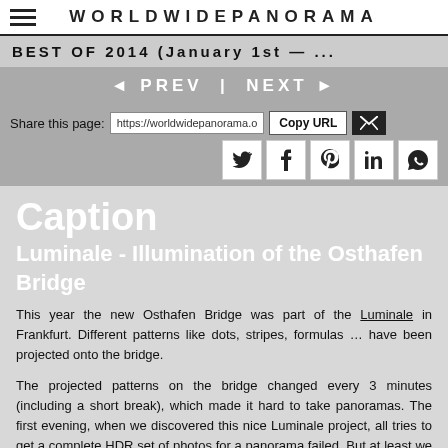WORLDWIDEPANORAMA
BEST OF 2014 (January 1st — ...
◄ PREV | NEXT ►
Share this page: https://worldwidepanorama.o Copy URL [email icon] [twitter] [facebook] [pinterest] [linkedin] [whatsapp]
Caption
Luminale - Illumination of the Osthafen Bridge
This year the new Osthafen Bridge was part of the Luminale in Frankfurt. Different patterns like dots, stripes, formulas … have been projected onto the bridge.
The projected patterns on the bridge changed every 3 minutes (including a short break), which made it hard to take panoramas. The first evening, when we discovered this nice Luminale project, all tries to get a complete HDR set of photos for a panorama failed. But at least we got an idea how long one pattern was projected.